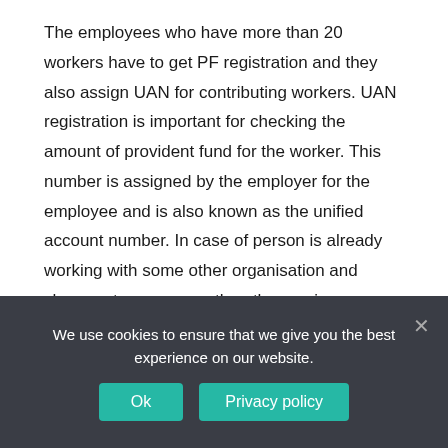The employees who have more than 20 workers have to get PF registration and they also assign UAN for contributing workers. UAN registration is important for checking the amount of provident fund for the worker. This number is assigned by the employer for the employee and is also known as the unified account number. In case of person is already working with some other organisation and changes to a new one then the previous employers UAN number can also be utilized while joining the new company. The current employer verifies the details and then the previous UAN number is transferred to the new employment.
We use cookies to ensure that we give you the best experience on our website.